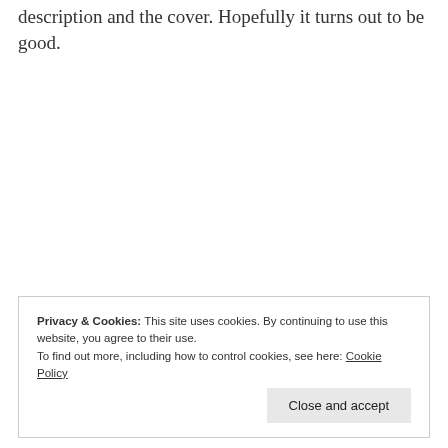description and the cover. Hopefully it turns out to be good.
So, that's my WWW Wednesday update for the
are familiar with any of these books.
Privacy & Cookies: This site uses cookies. By continuing to use this website, you agree to their use.
To find out more, including how to control cookies, see here: Cookie Policy
Close and accept